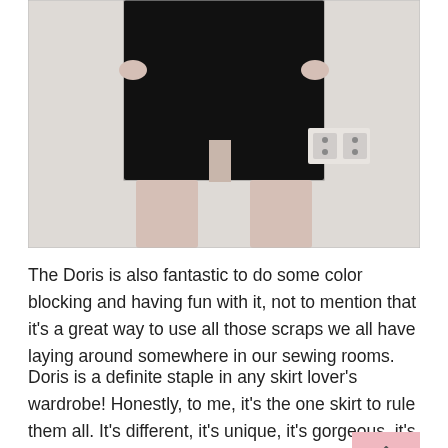[Figure (photo): Photo of a person wearing a black textured pencil skirt with a front slit, standing against a white brick wall. Only the torso and legs are visible.]
The Doris is also fantastic to do some color blocking and having fun with it, not to mention that it's a great way to use all those scraps we all have laying around somewhere in our sewing rooms.
Doris is a definite staple in any skirt lover's wardrobe! Honestly, to me, it's the one skirt to rule them all. It's different, it's unique, it's gorgeous, it's flattering, it's tons of options and can be made for pretty much